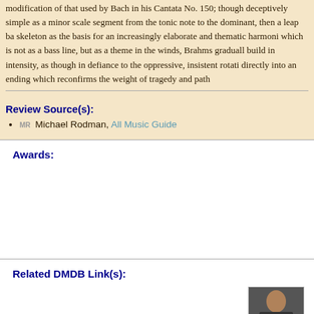modification of that used by Bach in his Cantata No. 150; though deceptively simple as a minor scale segment from the tonic note to the dominant, then a leap back to the tonic, serving as skeleton as the basis for an increasingly elaborate and thematic harmonic variations. Using it which is not as a bass line, but as a theme in the winds, Brahms gradually allows the music to build in intensity, as though in defiance to the oppressive, insistent rotation, before collapsing directly into an ending which reconfirms the weight of tragedy and pathos.
Review Source(s):
MR Michael Rodman, All Music Guide
Awards:
[Figure (other): Award badge: Dave's Music Database Top 1000 All Time circular badge with blue, red and gold design]
[Figure (other): Award badge: circular badge with violin/musical instrument photo]
Related DMDB Link(s):
[Figure (photo): Small thumbnail photo of a person]